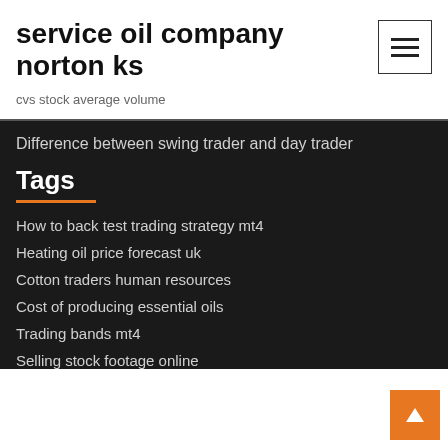service oil company norton ks
cvs stock average volume
Difference between swing trader and day trader
Tags
How to back test trading strategy mt4
Heating oil price forecast uk
Cotton traders human resources
Cost of producing essential oils
Trading bands mt4
Selling stock footage online